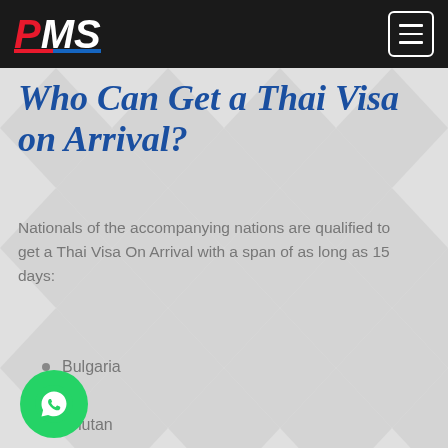PMS [logo] with hamburger menu
Who Can Get a Thai Visa on Arrival?
Nationals of the accompanying nations are qualified to get a Thai Visa On Arrival with a span of as long as 15 days:
Bulgaria
Bhutan
People's Republic of China